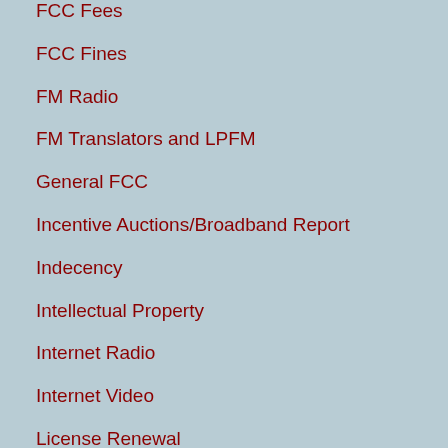FCC Fees
FCC Fines
FM Radio
FM Translators and LPFM
General FCC
Incentive Auctions/Broadband Report
Indecency
Intellectual Property
Internet Radio
Internet Video
License Renewal
Low Power Television/Class A TV
Multiple Ownership Rules